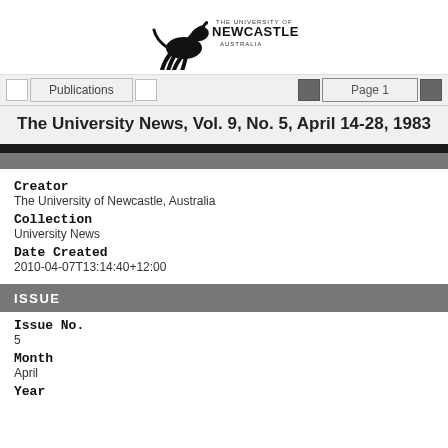[Figure (logo): University of Newcastle Australia logo with horse/rearing animal silhouette and text 'THE UNIVERSITY OF NEWCASTLE AUSTRALIA']
Publications  Page 1
The University News, Vol. 9, No. 5, April 14-28, 1983
Creator
The University of Newcastle, Australia
Collection
University News
Date Created
2010-04-07T13:14:40+12:00
ISSUE
Issue No.
5
Month
April
Year